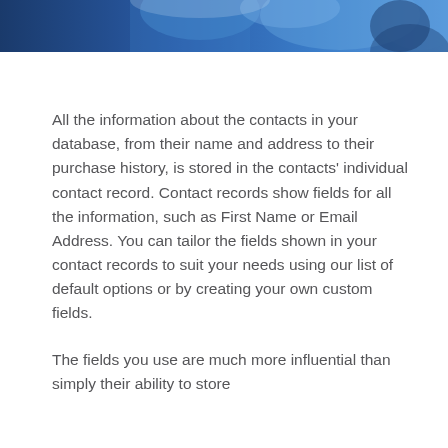[Figure (photo): Blue decorative header image with abstract shapes and partial face/person visible]
All the information about the contacts in your database, from their name and address to their purchase history, is stored in the contacts' individual contact record. Contact records show fields for all the information, such as First Name or Email Address. You can tailor the fields shown in your contact records to suit your needs using our list of default options or by creating your own custom fields.
The fields you use are much more influential than simply their ability to store